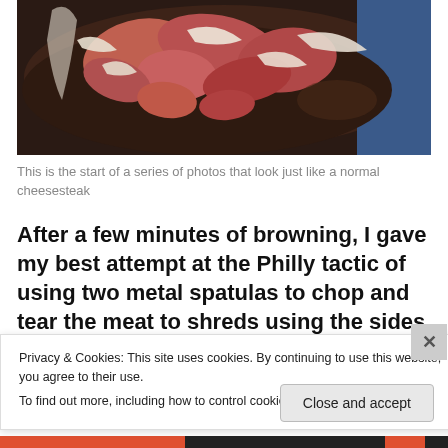[Figure (photo): A cast iron skillet with raw beef slices and white onion strips being cooked, seen from above against a dark background.]
This is the start of a series of photos that look just like a normal cheesesteak
After a few minutes of browning, I gave my best attempt at the Philly tactic of using two metal spatulas to chop and tear the meat to shreds using the sides of the spatulas
Privacy & Cookies: This site uses cookies. By continuing to use this website, you agree to their use.
To find out more, including how to control cookies, see here: Cookie Policy